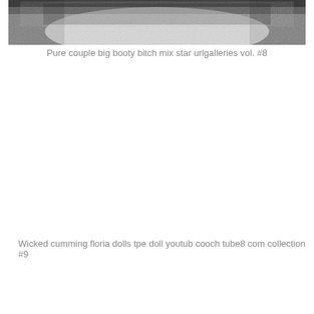[Figure (photo): Grayscale close-up photo showing a textured surface, cropped at the top of the page]
Pure couple big booty bitch mix star urlgalleries vol. #8
Wicked cumming floria dolls tpe doll youtub cooch tube8 com collection #9